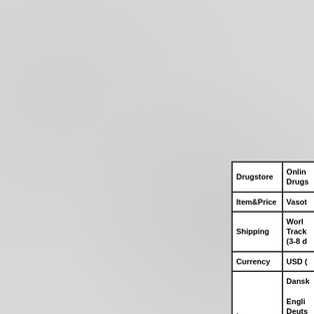|  |  |
| --- | --- |
| Drugstore | Online Drugs... |
| Item&Price | Vasot... |
| Shipping | Worl... Track... (3-8 d... |
| Currency | USD ... |
| Language | Dans... Engli... Deuts... Portu... Svens... |